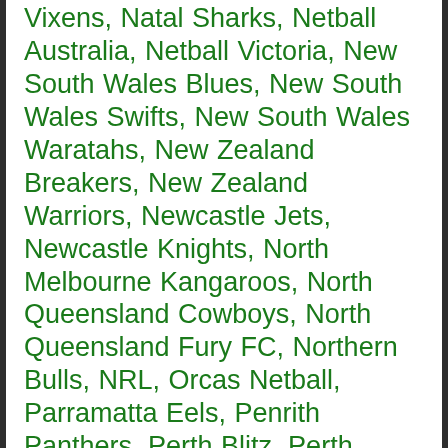Vixens, Natal Sharks, Netball Australia, Netball Victoria, New South Wales Blues, New South Wales Swifts, New South Wales Waratahs, New Zealand Breakers, New Zealand Warriors, Newcastle Jets, Newcastle Knights, North Melbourne Kangaroos, North Queensland Cowboys, North Queensland Fury FC, Northern Bulls, NRL, Orcas Netball, Parramatta Eels, Penrith Panthers, Perth Blitz, Perth Glory, Perth Wildcats, Petersham RUFC Netball Club, Port Adelaide Power, Pretoria Bulls, Queensland Bulls, Queensland Firebirds, Queensland Maroons, Queensland Reds, Richmond Tigers, Socceroos, South Australian Redbacks, South Dragons, South Sydney Rabbitohs, Southern Redbacks, St